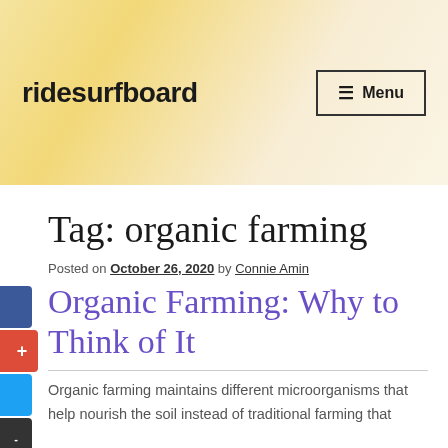ridesurfboard   Menu
Tag: organic farming
Posted on October 26, 2020 by Connie Amin
Organic Farming: Why to Think of It
Organic farming maintains different microorganisms that help nourish the soil instead of traditional farming that